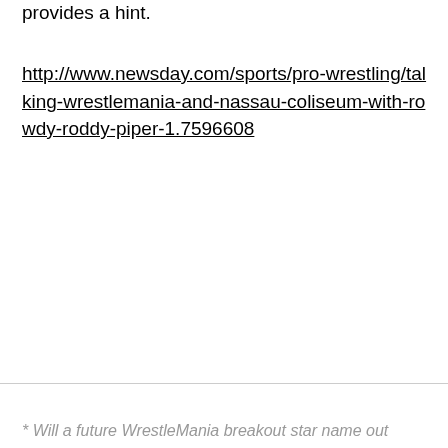provides a hint.
http://www.newsday.com/sports/pro-wrestling/talking-wrestlemania-and-nassau-coliseum-with-rowdy-roddy-piper-1.7596608
* Will a future WrestleMania breakout star name out